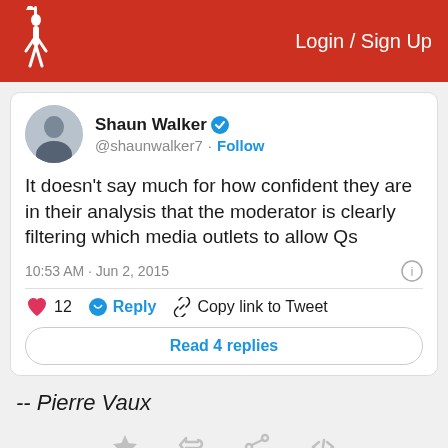Login / Sign Up
[Figure (screenshot): Embedded tweet by @shaunwalker7 (Shaun Walker, verified) with text: It doesn't say much for how confident they are in their analysis that the moderator is clearly filtering which media outlets to allow Qs. Posted 10:53 AM · Jun 2, 2015. 12 likes, Reply, Copy link to Tweet, Read 4 replies.]
-- Pierre Vaux